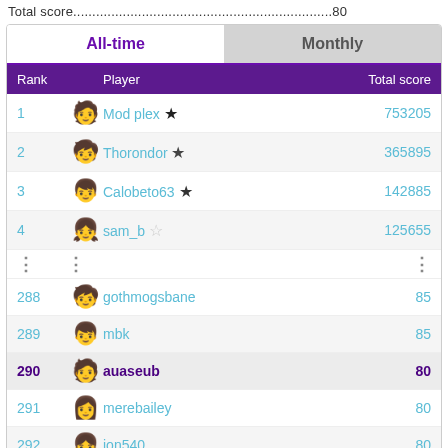Total score....................................................................80
| Rank | Player | Total score |
| --- | --- | --- |
| 1 | Mod plex ★ | 753205 |
| 2 | Thorondor ★ | 365895 |
| 3 | Calobeto63 ★ | 142885 |
| 4 | sam_b ☆ | 125655 |
| ⋮ | ⋮ | ⋮ |
| 288 | gothmogsbane | 85 |
| 289 | mbk | 85 |
| 290 | auaseub | 80 |
| 291 | merebailey | 80 |
| 292 | jon540 | 80 |